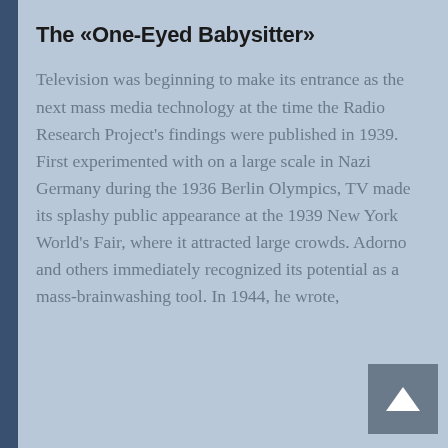The «One-Eyed Babysitter»
Television was beginning to make its entrance as the next mass media technology at the time the Radio Research Project's findings were published in 1939. First experimented with on a large scale in Nazi Germany during the 1936 Berlin Olympics, TV made its splashy public appearance at the 1939 New York World's Fair, where it attracted large crowds. Adorno and others immediately recognized its potential as a mass-brainwashing tool. In 1944, he wrote,